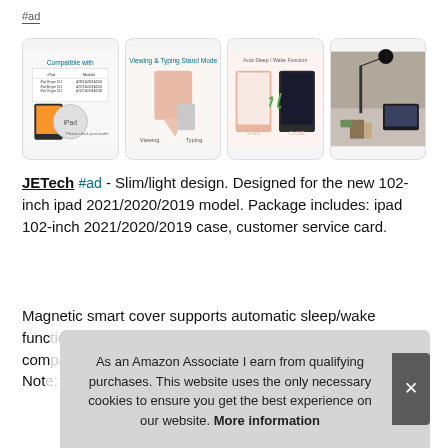#ad
[Figure (photo): Four product thumbnail images of a JETech iPad case: compatibility chart, viewing/typing stand mode, auto sleep/wake function illustration, and lifestyle photo with iPad on desk]
JETech #ad - Slim/light design. Designed for the new 102-inch ipad 2021/2020/2019 model. Package includes: ipad 102-inch 2021/2020/2019 case, customer service card.
Magnetic smart cover supports automatic sleep/wake func... com... Not...
As an Amazon Associate I earn from qualifying purchases. This website uses the only necessary cookies to ensure you get the best experience on our website. More information